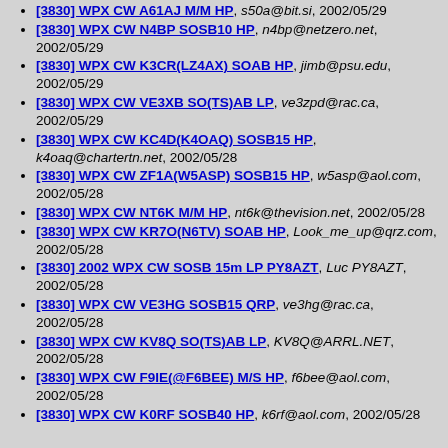[3830] WPX CW A61AJ M/M HP, s50a@bit.si, 2002/05/29
[3830] WPX CW N4BP SOSB10 HP, n4bp@netzero.net, 2002/05/29
[3830] WPX CW K3CR(LZ4AX) SOAB HP, jimb@psu.edu, 2002/05/29
[3830] WPX CW VE3XB SO(TS)AB LP, ve3zpd@rac.ca, 2002/05/29
[3830] WPX CW KC4D(K4OAQ) SOSB15 HP, k4oaq@chartertn.net, 2002/05/28
[3830] WPX CW ZF1A(W5ASP) SOSB15 HP, w5asp@aol.com, 2002/05/28
[3830] WPX CW NT6K M/M HP, nt6k@thevision.net, 2002/05/28
[3830] WPX CW KR7O(N6TV) SOAB HP, Look_me_up@qrz.com, 2002/05/28
[3830] 2002 WPX CW SOSB 15m LP PY8AZT, Luc PY8AZT, 2002/05/28
[3830] WPX CW VE3HG SOSB15 QRP, ve3hg@rac.ca, 2002/05/28
[3830] WPX CW KV8Q SO(TS)AB LP, KV8Q@ARRL.NET, 2002/05/28
[3830] WPX CW F9IE(@F6BEE) M/S HP, f6bee@aol.com, 2002/05/28
[3830] WPX CW K0RF SOSB40 HP, k6rf@aol.com, 2002/05/28